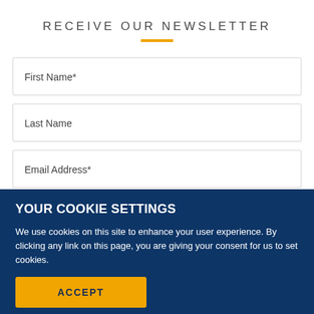RECEIVE OUR NEWSLETTER
First Name*
Last Name
Email Address*
YOUR COOKIE SETTINGS
We use cookies on this site to enhance your user experience. By clicking any link on this page, you are giving your consent for us to set cookies.
ACCEPT